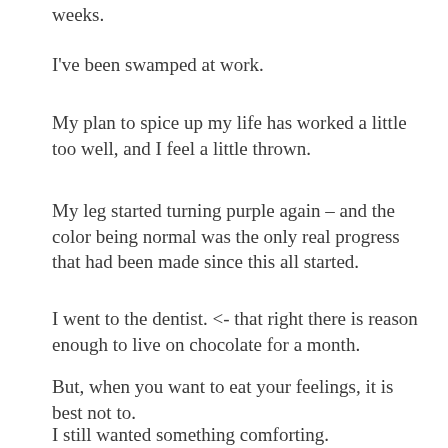weeks.
I've been swamped at work.
My plan to spice up my life has worked a little too well, and I feel a little thrown.
My leg started turning purple again – and the color being normal was the only real progress that had been made since this all started.
I went to the dentist. <- that right there is reason enough to live on chocolate for a month.
But, when you want to eat your feelings, it is best not to.
I still wanted something comforting.
and fall...